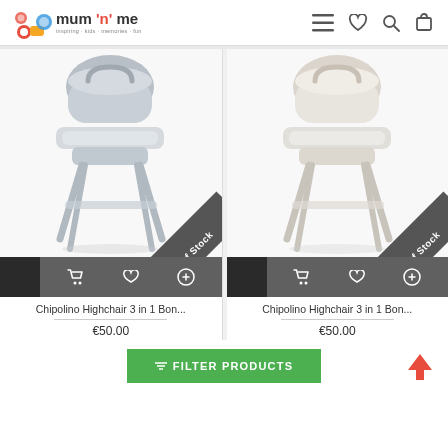mum 'n' me — navigation header with logo and icons (hamburger menu, heart, search, cart)
[Figure (photo): Chipolino Highchair 3 in 1 Bonbon in grey color, shown on product card with 'Out Of Stock' diagonal ribbon banner]
[Figure (photo): Chipolino Highchair 3 in 1 Bonbon in white/cream color, shown on product card with 'Out Of Stock' diagonal ribbon banner]
Chipolino Highchair 3 in 1 Bon...
€50.00
Chipolino Highchair 3 in 1 Bon...
€50.00
≡ FILTER PRODUCTS